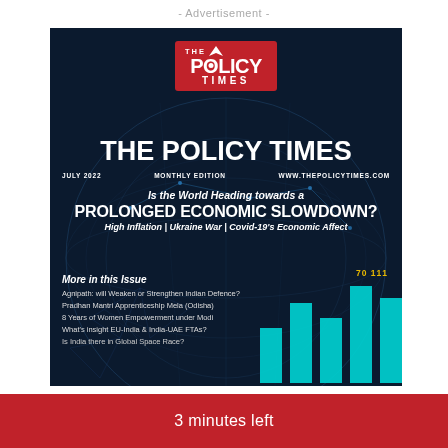- Advertisement -
[Figure (illustration): The Policy Times magazine cover, July 2022 Monthly Edition. Dark navy blue background with globe/network graphic. Red logo box at top. Large white title 'THE POLICY TIMES'. Main headline about Prolonged Economic Slowdown. List of article topics. Cyan bar chart decoration at bottom right.]
THE POLICY TIMES
JULY 2022   MONTHLY EDITION   WWW.THEPOLICYTIMES.COM
Is the World Heading towards a PROLONGED ECONOMIC SLOWDOWN?
High Inflation | Ukraine War | Covid-19's Economic Affect
More in this Issue
Agnipath: will Weaken or Strengthen Indian Defence?
Pradhan Mantri Apprenticeship Mela (Odisha)
8 Years of Women Empowerment under Modi
What's insight EU-India & India-UAE FTAs?
Is India there in Global Space Race?
3 minutes left